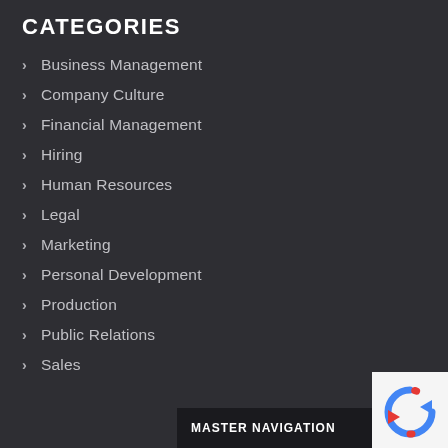CATEGORIES
Business Management
Company Culture
Financial Management
Hiring
Human Resources
Legal
Marketing
Personal Development
Production
Public Relations
Sales
MASTER NAVIGATION